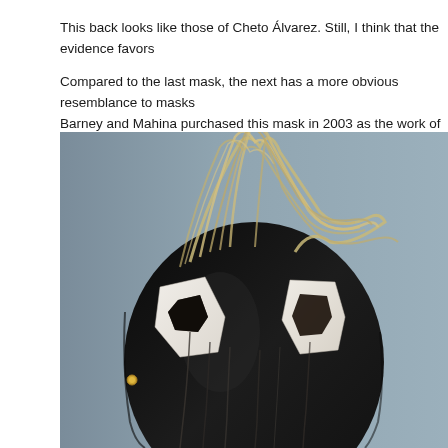This back looks like those of Cheto Álvarez. Still, I think that the evidence favors
Compared to the last mask, the next has a more obvious resemblance to masks Barney and Mahina purchased this mask in 2003 as the work of Tiofilo Chiber o
[Figure (photo): Close-up photograph of a ceremonial mask with wild straw/hair on top, white carved eye areas, and a black painted face. The mask has an animalistic appearance with hollow eye sockets and textured fur or fiber decorations.]